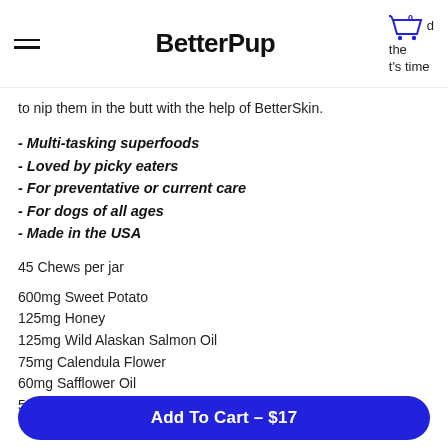BetterPup
to nip them in the butt with the help of BetterSkin.
- Multi-tasking superfoods
- Loved by picky eaters
- For preventative or current care
- For dogs of all ages
- Made in the USA
45 Chews per jar
600mg Sweet Potato
125mg Honey
125mg Wild Alaskan Salmon Oil
75mg Calendula Flower
60mg Safflower Oil
50mg Oregon Grape Root
Add To Cart – $17